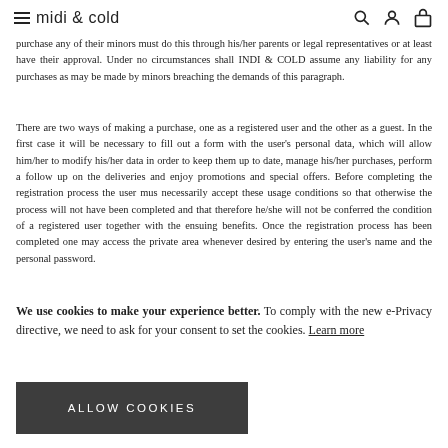≡ midi & cold
purchase any of their minors must do this through his/her parents or legal representatives or at least have their approval. Under no circumstances shall INDI & COLD assume any liability for any purchases as may be made by minors breaching the demands of this paragraph.
There are two ways of making a purchase, one as a registered user and the other as a guest. In the first case it will be necessary to fill out a form with the user's personal data, which will allow him/her to modify his/her data in order to keep them up to date, manage his/her purchases, perform a follow up on the deliveries and enjoy promotions and special offers. Before completing the registration process the user mus necessarily accept these usage conditions so that otherwise the process will not have been completed and that therefore he/she will not be conferred the condition of a registered user together with the ensuing benefits. Once the registration process has been completed one may access the private area whenever desired by entering the user's name and the personal password.
We use cookies to make your experience better. To comply with the new e-Privacy directive, we need to ask for your consent to set the cookies. Learn more
ALLOW COOKIES